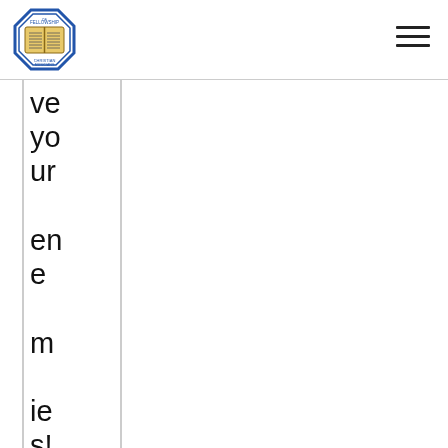[Figure (logo): Fellowship of Christian Musicians octagonal logo with open book in center]
ve your enemies! No one had